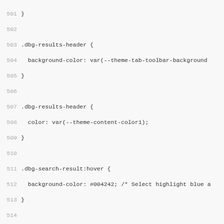CSS source code lines 501-532 showing CSS class definitions for .dbg-results-header, .dbg-search-result:hover, .dbg-results-header-match-count, .dbg-results-line-number, .dbg-results-line-contents-string, .theme-dark, and .theme-light selectors